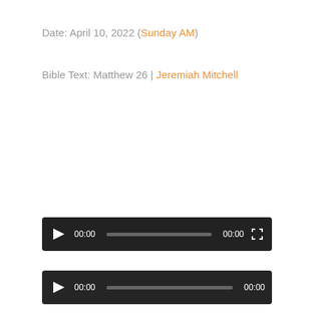Date: April 10, 2022 (Sunday AM)
Bible Text: Matthew 26 | Jeremiah Mitchell
[Figure (other): Audio/video player 1 with play button, progress bar showing 00:00 / 00:00, and fullscreen button on dark background]
[Figure (other): Audio player 2 with play button, progress bar showing 00:00 / 00:00 on dark background]